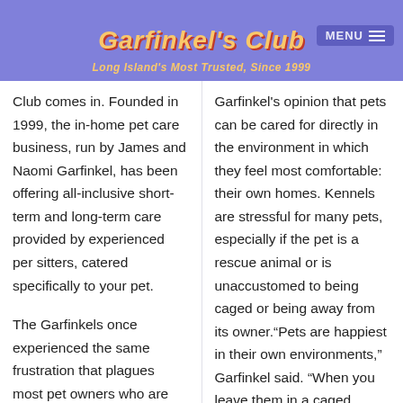Garfinkel's Club — Long Island's Most Trusted, Since 1999 — MENU
Club comes in. Founded in 1999, the in-home pet care business, run by James and Naomi Garfinkel, has been offering all-inclusive short-term and long-term care provided by experienced per sitters, catered specifically to your pet.

The Garfinkels once experienced the same frustration that plagues most pet owners who are trying to Find appropriate and convenient care for their pets.
Garfinkel's opinion that pets can be cared for directly in the environment in which they feel most comfortable: their own homes. Kennels are stressful for many pets, especially if the pet is a rescue animal or is unaccustomed to being caged or being away from its owner."Pets are happiest in their own environments," Garfinkel said. "When you leave them in a caged environment or in an unfamiliar setting, they might not understand that